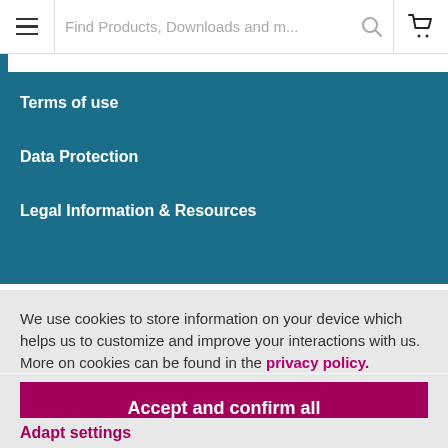Find Products, Downloads and m...
Terms of use
Data Protection
Legal Information & Resources
We use cookies to store information on your device which helps us to customize and improve your interactions with us. More on cookies can be found in the privacy policy.
Accept and confirm all
Adapt settings